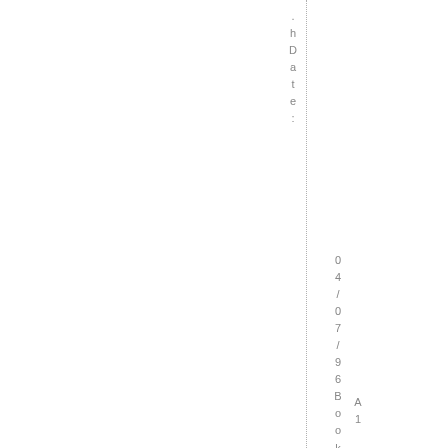hDate:
04/07/96
BookingNumber:
A1